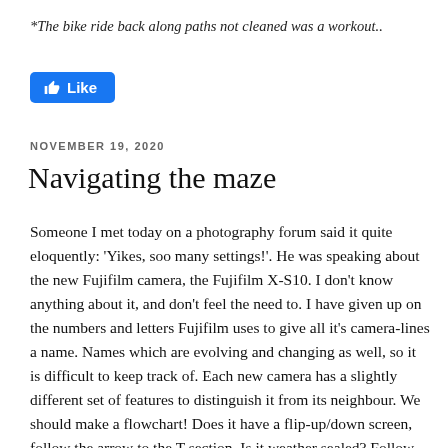*The bike ride back along paths not cleaned was a workout..
[Figure (other): Facebook Like button (blue rounded rectangle with thumbs-up icon and 'Like' text)]
NOVEMBER 19, 2020
Navigating the maze
Someone I met today on a photography forum said it quite eloquently: 'Yikes, soo many settings!'. He was speaking about the new Fujifilm camera, the Fujifilm X-S10. I don't know anything about it, and don't feel the need to. I have given up on the numbers and letters Fujifilm uses to give all it's camera-lines a name. Names which are evolving and changing as well, so it is difficult to keep track of. Each new camera has a slightly different set of features to distinguish it from its neighbour. We should make a flowchart! Does it have a flip-up/down screen, follow the arrow to the T section. Is it weather sealed? Follow the arrow to the T-single digit section, that sort of thing. One thing, however, is shared by most, if not all of those new cameras. The abundance of settings!